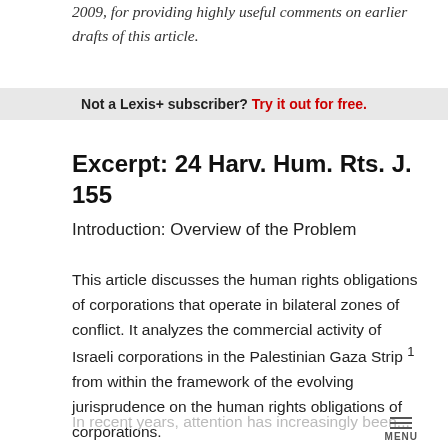2009, for providing highly useful comments on earlier drafts of this article.
Not a Lexis+ subscriber? Try it out for free.
Excerpt: 24 Harv. Hum. Rts. J. 155
Introduction: Overview of the Problem
This article discusses the human rights obligations of corporations that operate in bilateral zones of conflict. It analyzes the commercial activity of Israeli corporations in the Palestinian Gaza Strip 1 from within the framework of the evolving jurisprudence on the human rights obligations of corporations.
In recent years, attention has increasingly been...